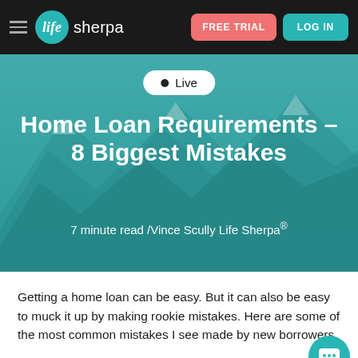Life Sherpa — FREE TRIAL | LOG IN
[Figure (screenshot): Life Sherpa website header with navigation bar (hamburger menu, Life Sherpa logo), FREE TRIAL button in salmon/red, LOG IN button in teal, followed by a hero section with mountain background, Live badge, article title 'Home Loan Requirements – 8 Biggest Mistakes', and byline '7 minute read /Vince Scully Life Sherpa®']
Home Loan Requirements – 8 Biggest Mistakes
7 minute read /Vince Scully Life Sherpa®
Getting a home loan can be easy. But it can also be easy to muck it up by making rookie mistakes. Here are some of the most common mistakes I see made by new borrowers.
Mistake No.1: They make too many